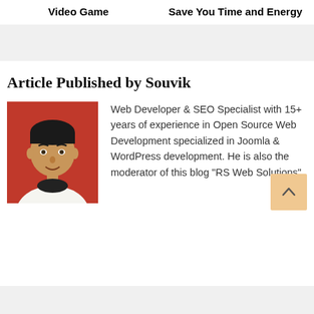Video Game
Save You Time and Energy
Article Published by Souvik
[Figure (photo): Portrait photo of Souvik, a man in a white jacket and black turtleneck against a red background]
Web Developer & SEO Specialist with 15+ years of experience in Open Source Web Development specialized in Joomla & WordPress development. He is also the moderator of this blog "RS Web Solutions".